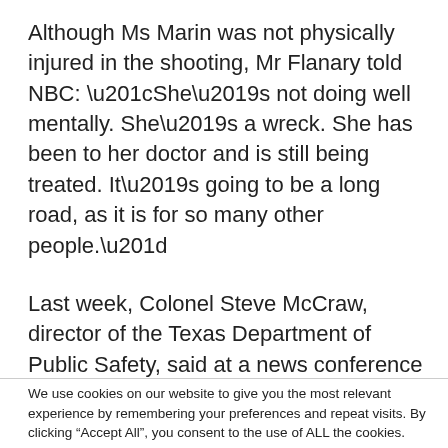Although Ms Marin was not physically injured in the shooting, Mr Flanary told NBC: “She’s not doing well mentally. She’s a wreck. She has been to her doctor and is still being treated. It’s going to be a long road, as it is for so many other people.”
Last week, Colonel Steve McCraw, director of the Texas Department of Public Safety, said at a news conference
We use cookies on our website to give you the most relevant experience by remembering your preferences and repeat visits. By clicking “Accept All”, you consent to the use of ALL the cookies. However, you may visit "Cookie Settings" to provide a controlled consent.